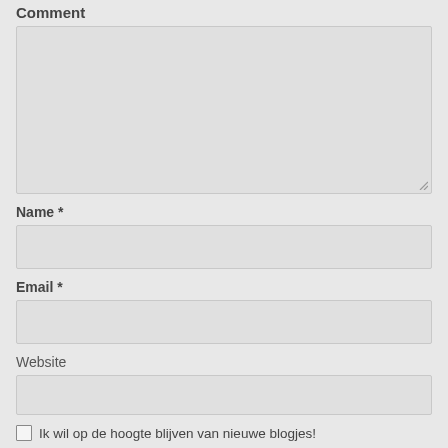Comment
[Figure (screenshot): Empty textarea input field for comment]
Name *
[Figure (screenshot): Empty text input field for name]
Email *
[Figure (screenshot): Empty text input field for email]
Website
[Figure (screenshot): Empty text input field for website]
Ik wil op de hoogte blijven van nieuwe blogjes!